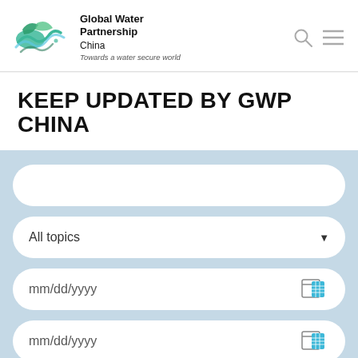[Figure (logo): Global Water Partnership China logo — wave/water graphic in green and teal, with text 'Global Water Partnership China, Towards a water secure world']
KEEP UPDATED BY GWP CHINA
All topics (dropdown field)
mm/dd/yyyy (date field 1)
mm/dd/yyyy (date field 2)